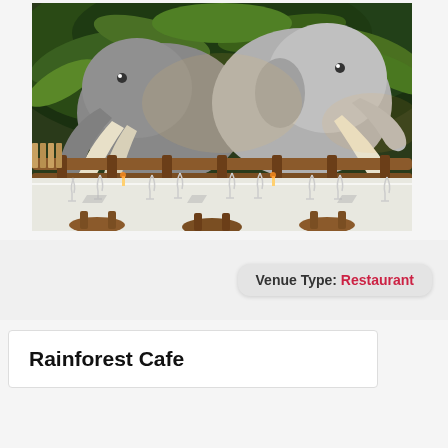[Figure (photo): Interior of Rainforest Cafe restaurant showing large elephant statues/decorations among tropical foliage, with dining tables set with white tablecloths and wine glasses, wooden chairs in the foreground.]
Venue Type: Restaurant
Rainforest Cafe